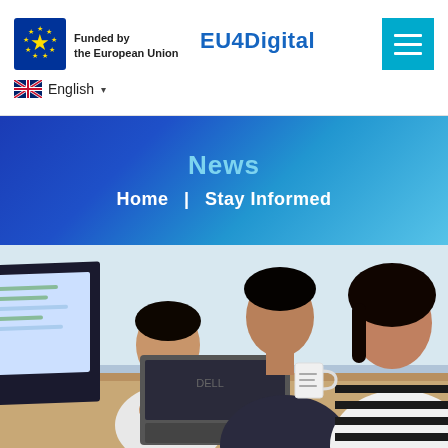[Figure (logo): EU flag logo with stars circle and 'Funded by the European Union' text]
EU4Digital
[Figure (screenshot): Hamburger menu button (three horizontal lines) on cyan background]
English
News
Home  |  Stay Informed
[Figure (photo): Three people working at a desk with laptops. Two men and a woman looking at a laptop screen in an office setting.]